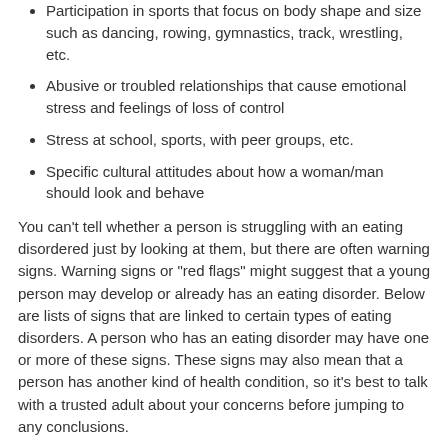Participation in sports that focus on body shape and size such as dancing, rowing, gymnastics, track, wrestling, etc.
Abusive or troubled relationships that cause emotional stress and feelings of loss of control
Stress at school, sports, with peer groups, etc.
Specific cultural attitudes about how a woman/man should look and behave
You can’t tell whether a person is struggling with an eating disordered just by looking at them, but there are often warning signs. Warning signs or “red flags” might suggest that a young person may develop or already has an eating disorder. Below are lists of signs that are linked to certain types of eating disorders. A person who has an eating disorder may have one or more of these signs. These signs may also mean that a person has another kind of health condition, so it’s best to talk with a trusted adult about your concerns before jumping to any conclusions.
Red flags for Anorexia Nervosa:
Skips meals
Makes excuses not to eat
Over-exercises (makes exercise a top priority)
Eats only “safe” foods (low calorie, low-fat)